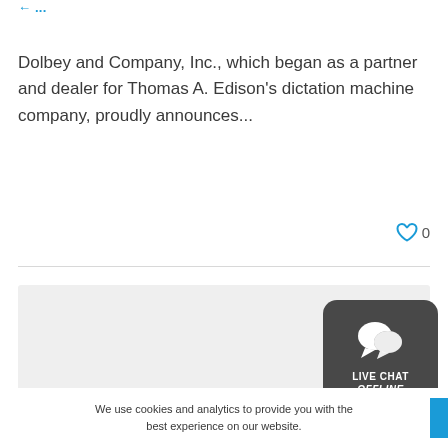…
Dolbey and Company, Inc., which began as a partner and dealer for Thomas A. Edison's dictation machine company, proudly announces...
[Figure (infographic): Heart/like icon with count 0]
[Figure (infographic): Gray content box placeholder]
[Figure (infographic): Live chat widget showing LIVE CHAT OFFLINE with chat bubble icons on dark gray rounded background]
We use cookies and analytics to provide you with the best experience on our website.